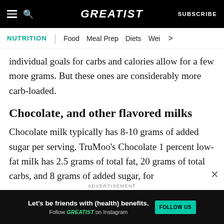GREATIST | SUBSCRIBE
NUTRITION | Food  Meal Prep  Diets  Wei >
individual goals for carbs and calories allow for a few more grams. But these ones are considerably more carb-loaded.
Chocolate, and other flavored milks
Chocolate milk typically has 8-10 grams of added sugar per serving. TruMoo’s Chocolate 1 percent low-fat milk has 2.5 grams of total fat, 20 grams of total carbs, and 8 grams of added sugar, for
[Figure (screenshot): Advertisement banner: dark background with text 'Let’s be friends with (health) benefits. Follow GREATIST on Instagram' and a green FOLLOW US button]